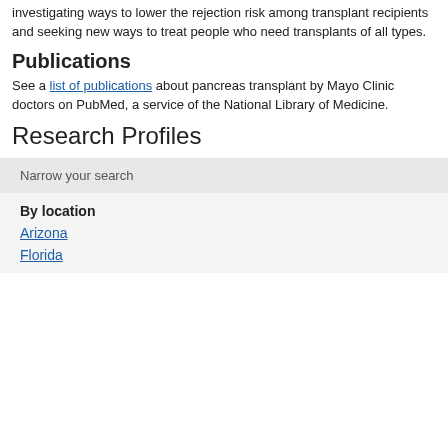investigating ways to lower the rejection risk among transplant recipients and seeking new ways to treat people who need transplants of all types.
Publications
See a list of publications about pancreas transplant by Mayo Clinic doctors on PubMed, a service of the National Library of Medicine.
Research Profiles
Narrow your search
By location
Arizona
Florida